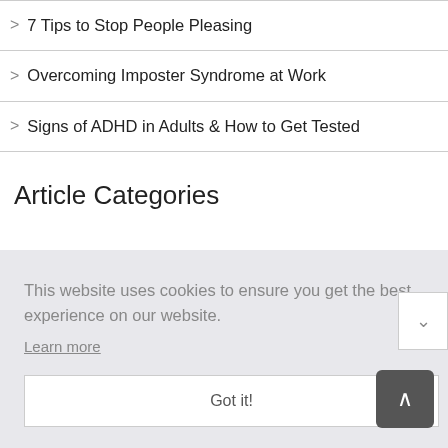7 Tips to Stop People Pleasing
Overcoming Imposter Syndrome at Work
Signs of ADHD in Adults & How to Get Tested
Article Categories
This website uses cookies to ensure you get the best experience on our website. Learn more
Got it!